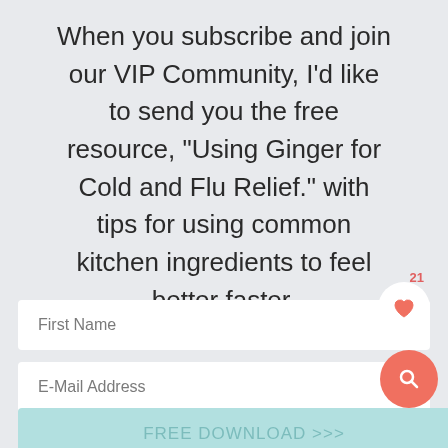When you subscribe and join our VIP Community, I'd like to send you the free resource, "Using Ginger for Cold and Flu Relief." with tips for using common kitchen ingredients to feel better faster.
First Name
E-Mail Address
FREE DOWNLOAD >>>